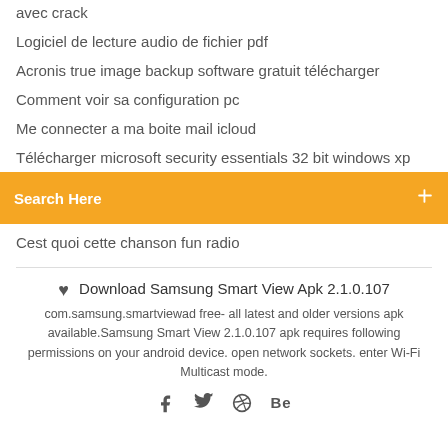avec crack
Logiciel de lecture audio de fichier pdf
Acronis true image backup software gratuit télécharger
Comment voir sa configuration pc
Me connecter a ma boite mail icloud
Télécharger microsoft security essentials 32 bit windows xp
Search Here
Cest quoi cette chanson fun radio
♥ Download Samsung Smart View Apk 2.1.0.107
com.samsung.smartviewad free- all latest and older versions apk available.Samsung Smart View 2.1.0.107 apk requires following permissions on your android device. open network sockets. enter Wi-Fi Multicast mode.